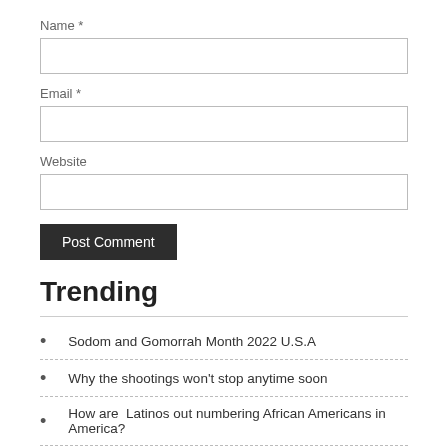Name *
Email *
Website
Post Comment
Trending
Sodom and Gomorrah Month 2022 U.S.A
Why the shootings won't stop anytime soon
How are  Latinos out numbering African Americans in America?
Brooklyn's Train shooting
Ukraine, Racist country